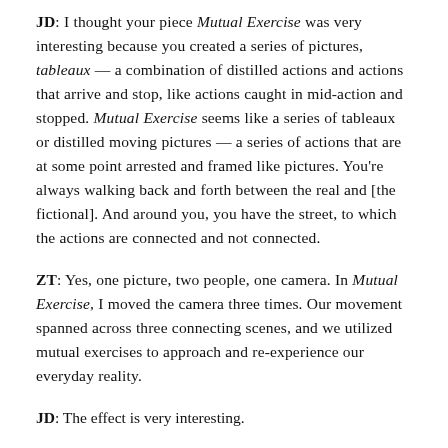JD: I thought your piece Mutual Exercise was very interesting because you created a series of pictures, tableaux — a combination of distilled actions and actions that arrive and stop, like actions caught in mid-action and stopped. Mutual Exercise seems like a series of tableaux or distilled moving pictures — a series of actions that are at some point arrested and framed like pictures. You're always walking back and forth between the real and [the fictional]. And around you, you have the street, to which the actions are connected and not connected.
ZT: Yes, one picture, two people, one camera. In Mutual Exercise, I moved the camera three times. Our movement spanned across three connecting scenes, and we utilized mutual exercises to approach and re-experience our everyday reality.
JD: The effect is very interesting.